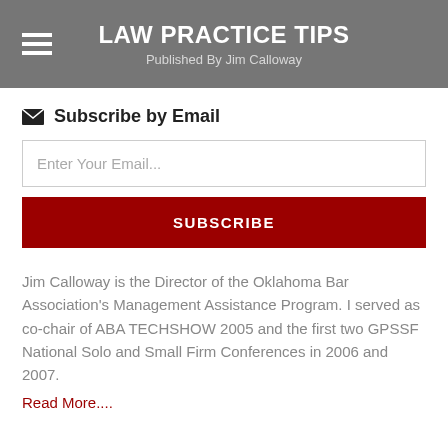LAW PRACTICE TIPS
Published By Jim Calloway
Subscribe by Email
Enter Your Email...
SUBSCRIBE
Jim Calloway is the Director of the Oklahoma Bar Association's Management Assistance Program. I served as co-chair of ABA TECHSHOW 2005 and the first two GPSSF National Solo and Small Firm Conferences in 2006 and 2007.
Read More....